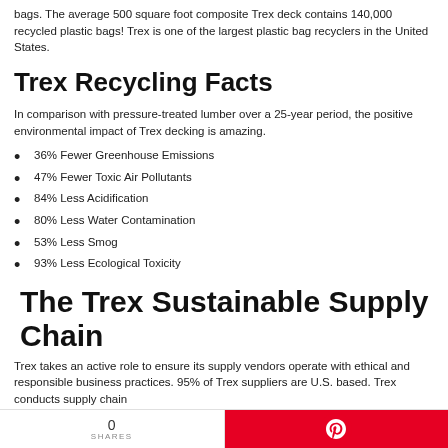bags. The average 500 square foot composite Trex deck contains 140,000 recycled plastic bags! Trex is one of the largest plastic bag recyclers in the United States.
Trex Recycling Facts
In comparison with pressure-treated lumber over a 25-year period, the positive environmental impact of Trex decking is amazing.
36% Fewer Greenhouse Emissions
47% Fewer Toxic Air Pollutants
84% Less Acidification
80% Less Water Contamination
53% Less Smog
93% Less Ecological Toxicity
The Trex Sustainable Supply Chain
Trex takes an active role to ensure its supply vendors operate with ethical and responsible business practices. 95% of Trex suppliers are U.S. based. Trex conducts supply chain
0 SHARES  [Pinterest]